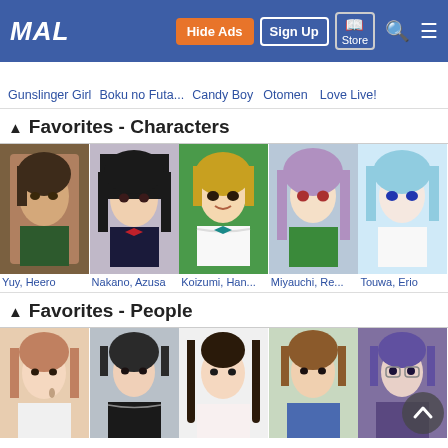MAL | Hide Ads | Sign Up | Store | Search | Menu
Gunslinger Girl  Boku no Futa...  Candy Boy  Otomen  Love Live!
Favorites - Characters
[Figure (photo): Yuy, Heero - anime character with short dark hair, green outfit]
[Figure (photo): Nakano, Azusa - anime character with long black hair, school uniform with red bow]
[Figure (photo): Koizumi, Han... - anime character with blonde/golden hair, white frilly outfit]
[Figure (photo): Miyauchi, Re... - anime character with long purple hair, green outfit]
[Figure (photo): Touwa, Erio - anime character with light blue hair, red bow]
Favorites - People
[Figure (photo): Person 1 - young Japanese woman with light brown hair, earring]
[Figure (photo): Person 2 - young Japanese woman with dark hair up, black turtleneck]
[Figure (photo): Person 3 - young Japanese woman with dark twin-tail hair]
[Figure (photo): Person 4 - young Japanese woman with brown hair, outdoors]
[Figure (photo): Person 5 - partially visible, scroll-up button overlay]